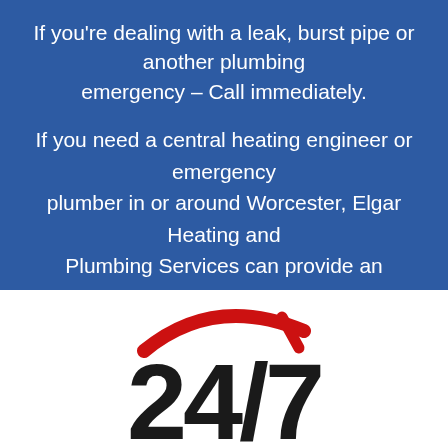If you're dealing with a leak, burst pipe or another plumbing emergency – Call immediately.
If you need a central heating engineer or emergency plumber in or around Worcester, Elgar Heating and Plumbing Services can provide an efficient timely service 365 days a year – 24hrs a day!
[Figure (logo): 24/7 logo in bold black text with a red arc/slash graphic above the numbers]